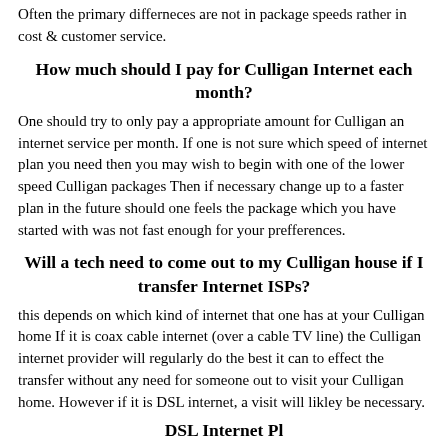Often the primary differneces are not in package speeds rather in cost & customer service.
How much should I pay for Culligan Internet each month?
One should try to only pay a appropriate amount for Culligan an internet service per month. If one is not sure which speed of internet plan you need then you may wish to begin with one of the lower speed Culligan packages Then if necessary change up to a faster plan in the future should one feels the package which you have started with was not fast enough for your prefferences.
Will a tech need to come out to my Culligan house if I transfer Internet ISPs?
this depends on which kind of internet that one has at your Culligan home If it is coax cable internet (over a cable TV line) the Culligan internet provider will regularly do the best it can to effect the transfer without any need for someone out to visit your Culligan home. However if it is DSL internet, a visit will likley be necessary.
DSL Internet Pl...